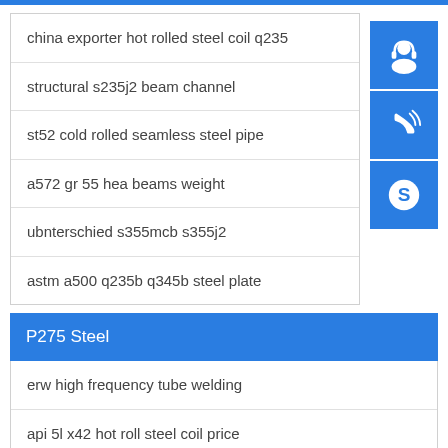china exporter hot rolled steel coil q235
structural s235j2 beam channel
st52 cold rolled seamless steel pipe
a572 gr 55 hea beams weight
ubnterschied s355mcb s355j2
astm a500 q235b q345b steel plate
P275 Steel
erw high frequency tube welding
api 5l x42 hot roll steel coil price